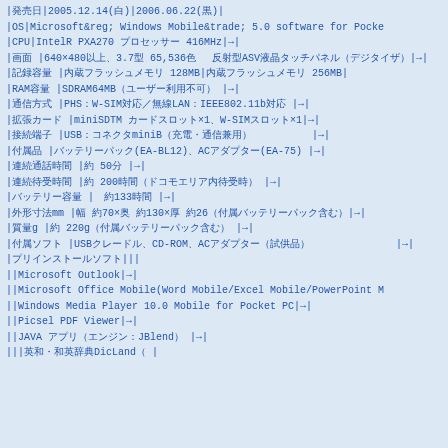| 発売日 | 2005.12.14(白) | 2006.06.22(黒) |
| OS | Microsoft® Windows Mobile™ 5.0 software for Pocket PC... |
| CPU | IntelR PXA270 プロセッサー 416MHz | → |
| 画面 | 640×480以上、3.7型 65,536色 反射型ASV液晶タッチパネル（デジタイザ） | → |
| 記録容量 | 内蔵フラッシュメモリ 128MB | 内蔵フラッシュメモリ 256MB |
| RAM容量 | SDRAM64MB（ユーザー利用不可） | → |
| 通信方式 | PHS：W-SIM対応／無線LAN：IEEE802.11b対応 | → |
| 拡張カード | miniSDTM カードスロット×1、W-SIMスロット×1 | → |
| 接続端子 | USB：コネクタminiB（充電・通信兼用） | → |
| 付属品 | バッテリーパック(EA-BL12)、ACアダプター(EA-75) | → |
| 連続通話時間 | 約 50分 | → |
| 連続待受時間 | 約 200時間（ドコモエリア内待受時） | → |
| バッテリー容量 |  約133時間 | → |
| 外形寸法mm | 幅 約70×奥 約130×厚 約26（付属バッテリーパック含む） | → |
| 質量g | 約 220g（付属バッテリーパック含む） | → |
| 付属ソフト | USBクレードル、CD-ROM、ACアダプター（試供品）、各種マニュアル等 | → |
| プリインストールソフト |  |  |  |
|  | Microsoft Outlook | → |
|  | Microsoft Office Mobile(Word Mobile/Excel Mobile/PowerPoint M... |
|  | Windows Media Player 10.0 Mobile for Pocket PC | → |
|  | Picsel PDF Viewer | → |
|  | JAVAアプリ（エンジン：JBlend） | → |
|  |  | 英和・和英辞典DicLand（ |  |